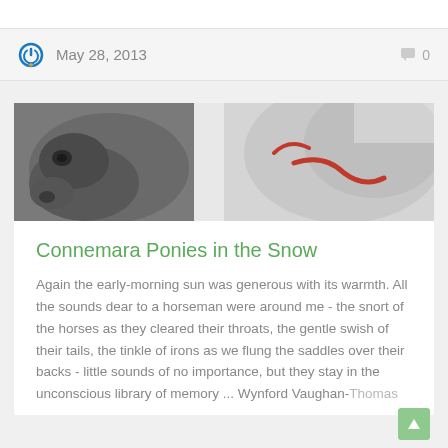May 28, 2013   0
[Figure (photo): Close-up photograph of two Connemara ponies in snow, showing their faces and heads. One pony is dark/grey on the left, the other is white/light with a red halter on the right.]
Connemara Ponies in the Snow
Again the early-morning sun was generous with its warmth. All the sounds dear to a horseman were around me - the snort of the horses as they cleared their throats, the gentle swish of their tails, the tinkle of irons as we flung the saddles over their backs - little sounds of no importance, but they stay in the unconscious library of memory ... Wynford Vaughan-Thomas